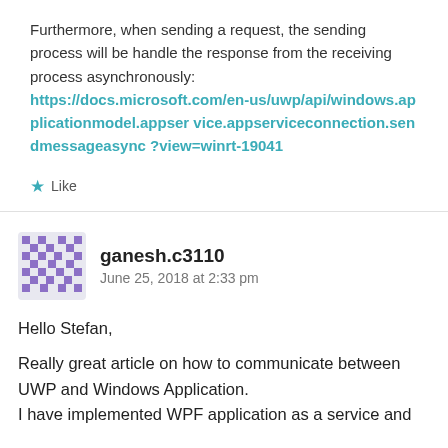Furthermore, when sending a request, the sending process will be handle the response from the receiving process asynchronously: https://docs.microsoft.com/en-us/uwp/api/windows.applicationmodel.appservice.appserviceconnection.sendmessageasync?view=winrt-19041
Like
ganesh.c3110
June 25, 2018 at 2:33 pm
Hello Stefan,

Really great article on how to communicate between UWP and Windows Application.
I have implemented WPF application as a service and